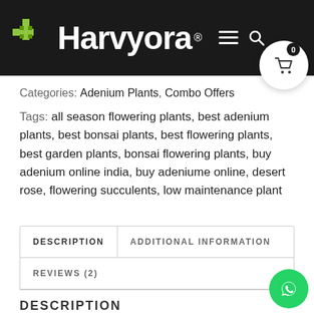Harvyora ®
Categories: Adenium Plants, Combo Offers
Tags: all season flowering plants, best adenium plants, best bonsai plants, best flowering plants, best garden plants, bonsai flowering plants, buy adenium online india, buy adeniume online, desert rose, flowering succulents, low maintenance plant
DESCRIPTION
ADDITIONAL INFORMATION
REVIEWS (2)
DESCRIPTION